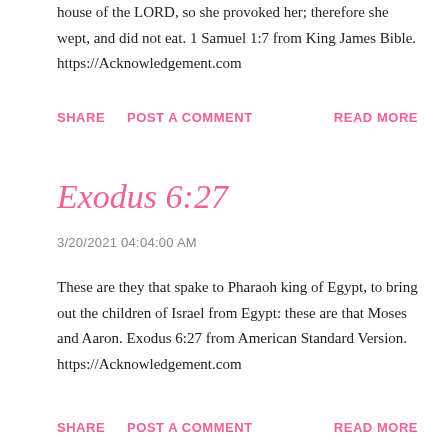house of the LORD, so she provoked her; therefore she wept, and did not eat. 1 Samuel 1:7 from King James Bible. https://Acknowledgement.com
SHARE   POST A COMMENT   READ MORE
Exodus 6:27
3/20/2021 04:04:00 AM
These are they that spake to Pharaoh king of Egypt, to bring out the children of Israel from Egypt: these are that Moses and Aaron. Exodus 6:27 from American Standard Version. https://Acknowledgement.com
SHARE   POST A COMMENT   READ MORE